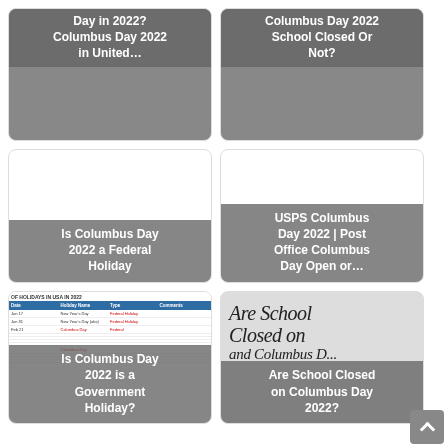[Figure (screenshot): Card with dark gray background and white bold text overlay at top: 'Day in 2022? Columbus Day 2022 in United...']
[Figure (screenshot): Card with dark gray background and white bold text overlay at top: 'Columbus Day 2022 School Closed Or Not?']
[Figure (screenshot): Card with white background and gray text overlay at bottom: 'Is Columbus Day 2022 a Federal Holiday']
[Figure (screenshot): Card with white background and gray text overlay at bottom: 'USPS Columbus Day 2022 | Post Office Columbus Day Open or...']
[Figure (screenshot): Card with table screenshot background showing US Holidays 2022 list, and gray text overlay: 'Is Columbus Day 2022 is a Government Holiday?']
[Figure (screenshot): Card with cursive text 'Are School Closed on' in background and gray overlay text: 'Are School Closed on Columbus Day 2022?']